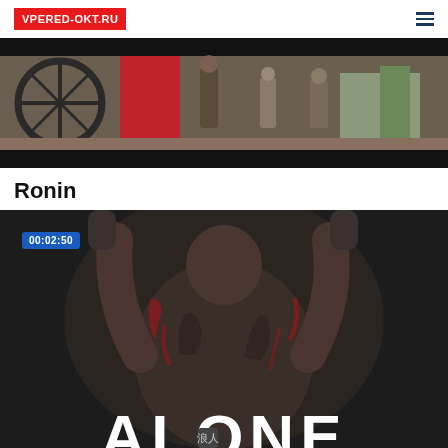VPERED-OKT.RU
[Figure (screenshot): Video thumbnail showing a scene with people in traditional Asian costumes, a wooden cart wheel visible on the left, red fabric, and figures in the background against a dark top and bottom border.]
Ronin
[Figure (screenshot): Video thumbnail showing a heavily tattooed man (back view) with arms raised, large decorative Asian-style tattoos covering his back, arms and shoulders. The word ALONE is displayed in large white letters at the bottom. A blue timestamp badge reads 00:02:50 in the top left.]